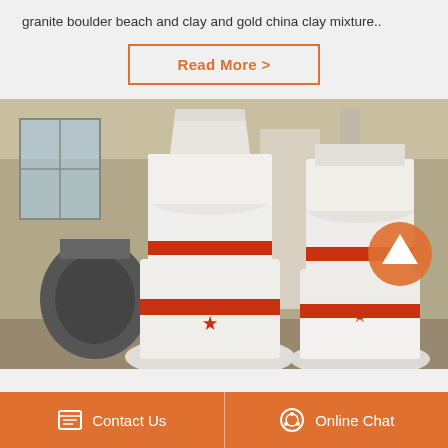granite boulder beach and clay and gold china clay mixture..
Read More >
[Figure (photo): Industrial grinding mill machines (white cylindrical vertical roller mills with red stripe bands) in a factory/warehouse setting. Two large white mill units are prominently visible with a scroll-up arrow button overlay on the right side.]
Contact Us
Online Chat